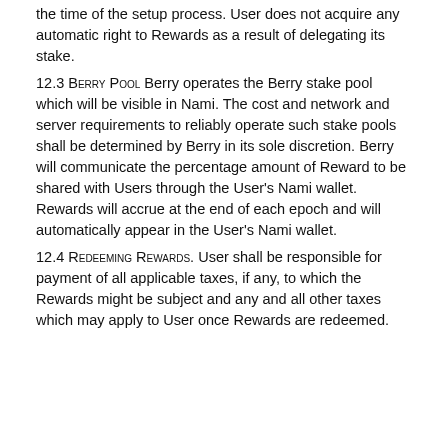the time of the setup process. User does not acquire any automatic right to Rewards as a result of delegating its stake.
12.3 Berry Pool Berry operates the Berry stake pool which will be visible in Nami. The cost and network and server requirements to reliably operate such stake pools shall be determined by Berry in its sole discretion. Berry will communicate the percentage amount of Reward to be shared with Users through the User's Nami wallet. Rewards will accrue at the end of each epoch and will automatically appear in the User's Nami wallet.
12.4 Redeeming Rewards. User shall be responsible for payment of all applicable taxes, if any, to which the Rewards might be subject and any and all other taxes which may apply to User once Rewards are redeemed.